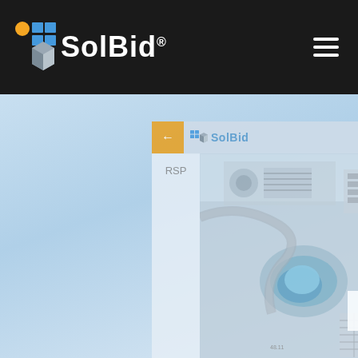[Figure (screenshot): SolBid website header/navbar with dark background, logo on left, hamburger menu on right]
[Figure (screenshot): SolBid application screenshot showing aerial view of a property with solar panels, with RSP sidebar and SolBid logo in topbar, scroll-up button visible]